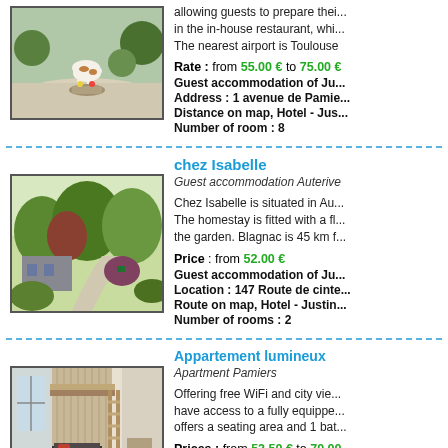[Figure (photo): Outdoor photo showing a decorative cow statue on gravel with greenery in background]
allowing guests to prepare thei... in the in-house restaurant, whi... The nearest airport is Toulouse
Rate : from 55.00 € to 75.00 €
Guest accommodation of Ju...
Address : 1 avenue de Pamie...
Distance on map, Hotel - Jus...
Number of room : 8
chez Isabelle
Guest accommodation Auterive
Chez Isabelle is situated in Au... The homestay is fitted with a fl... the garden. Blagnac is 45 km f...
[Figure (photo): Garden path with lush greenery and trees, house partially visible]
Price : from 52.00 €
Guest accommodation of Ju...
Location : 147 Route de cinte...
Route on map, Hotel - Justin...
Number of rooms : 2
Appartement lumineux
Apartment Pamiers
[Figure (photo): Interior photo of a bright apartment with loft bed and wooden ladder]
Offering free WiFi and city vie... have access to a fully equippe... offers a seating area and 1 bat...
Prices : from 52.50 € to 70.00...